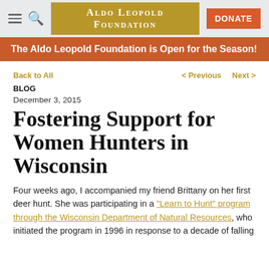Aldo Leopold Foundation | DONATE
The Aldo Leopold Foundation is Open for the Season!
Back to All   < Previous   Next >
BLOG
December 3, 2015
Fostering Support for Women Hunters in Wisconsin
Four weeks ago, I accompanied my friend Brittany on her first deer hunt. She was participating in a “Learn to Hunt” program through the Wisconsin Department of Natural Resources, who initiated the program in 1996 in response to a decade of falling